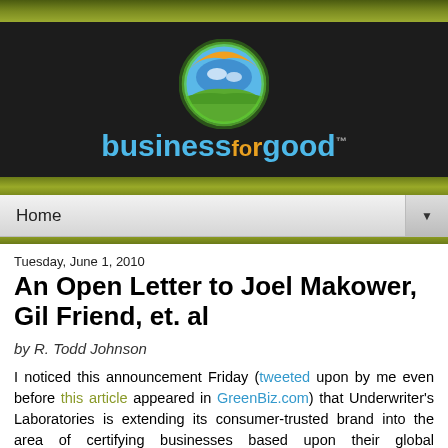[Figure (logo): businessforgood logo with globe icon showing orange sun, blue earth and green landscape, and the text 'business for good' in cyan and orange on dark background]
Home
Tuesday, June 1, 2010
An Open Letter to Joel Makower, Gil Friend, et. al
by R. Todd Johnson
I noticed this announcement Friday (tweeted upon by me even before this article appeared in GreenBiz.com) that Underwriter's Laboratories is extending its consumer-trusted brand into the area of certifying businesses based upon their global sustainability.